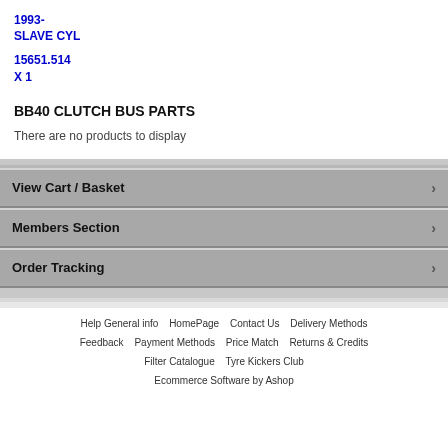1993-
SLAVE CYL
15651.514
X 1
BB40 CLUTCH BUS PARTS
There are no products to display
View Cart / Basket
Members Section
Order Tracking
Help General info   HomePage   Contact Us   Delivery Methods   Feedback   Payment Methods   Price Match   Returns & Credits   Filter Catalogue   Tyre Kickers Club   Ecommerce Software by Ashop